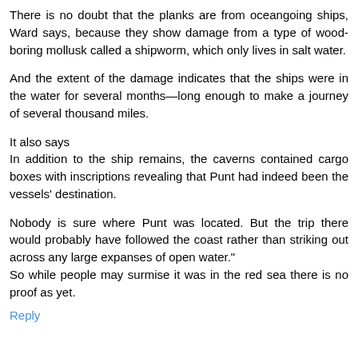There is no doubt that the planks are from oceangoing ships, Ward says, because they show damage from a type of wood-boring mollusk called a shipworm, which only lives in salt water.
And the extent of the damage indicates that the ships were in the water for several months—long enough to make a journey of several thousand miles.
It also says
In addition to the ship remains, the caverns contained cargo boxes with inscriptions revealing that Punt had indeed been the vessels' destination.
Nobody is sure where Punt was located. But the trip there would probably have followed the coast rather than striking out across any large expanses of open water."
So while people may surmise it was in the red sea there is no proof as yet.
Reply